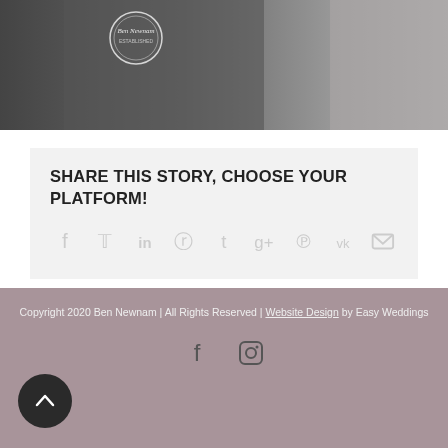[Figure (photo): Black and white photograph showing two people, one wearing a Ben Newnam branded t-shirt with a circular logo]
SHARE THIS STORY, CHOOSE YOUR PLATFORM!
Social share icons: Facebook, Twitter, LinkedIn, Reddit, Tumblr, Google+, Pinterest, VK, Email
Copyright 2020 Ben Newnam | All Rights Reserved | Website Design by Easy Weddings